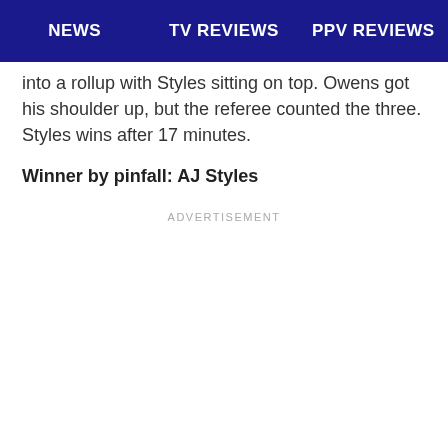NEWS | TV REVIEWS | PPV REVIEWS
into a rollup with Styles sitting on top. Owens got his shoulder up, but the referee counted the three. Styles wins after 17 minutes.
Winner by pinfall: AJ Styles
ADVERTISEMENT